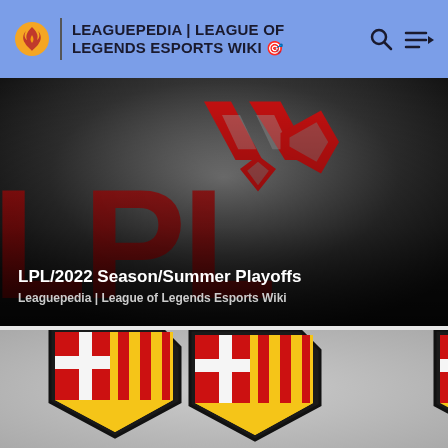LEAGUEPEDIA | LEAGUE OF LEGENDS ESPORTS WIKI
[Figure (screenshot): LPL 2022 Season Summer Playoffs banner with red geometric LPL logo on dark background with large 'LPL' text]
LPL/2022 Season/Summer Playoffs
Leaguepedia | League of Legends Esports Wiki
[Figure (screenshot): FC Barcelona shield/crest logos on grey background - partial view showing two crests with red and yellow stripe design]